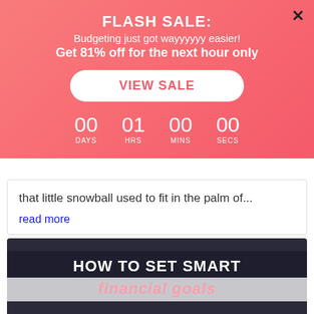FLASH SALE:
Budgeting just got wayyyyyy easier!
Get 81% off for the next hour only
VIEW SALE
00 DAYS  01 HRS  00 MINS  00 SECS
that little snowball used to fit in the palm of...
read more
[Figure (illustration): Banner image with text 'HOW TO SET SMART financial goals' on dark background with pink cursive text below]